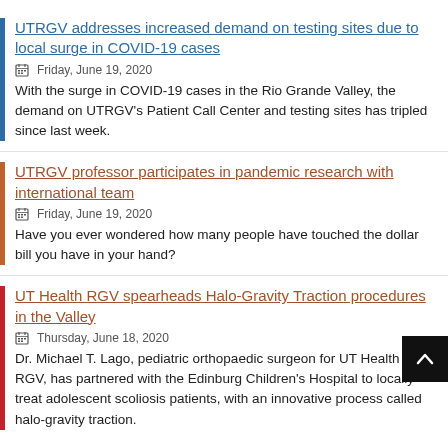UTRGV addresses increased demand on testing sites due to local surge in COVID-19 cases
Friday, June 19, 2020
With the surge in COVID-19 cases in the Rio Grande Valley, the demand on UTRGV's Patient Call Center and testing sites has tripled since last week.
UTRGV professor participates in pandemic research with international team
Friday, June 19, 2020
Have you ever wondered how many people have touched the dollar bill you have in your hand?
UT Health RGV spearheads Halo-Gravity Traction procedures in the Valley
Thursday, June 18, 2020
Dr. Michael T. Lago, pediatric orthopaedic surgeon for UT Health RGV, has partnered with the Edinburg Children's Hospital to locally treat adolescent scoliosis patients, with an innovative process called halo-gravity traction.